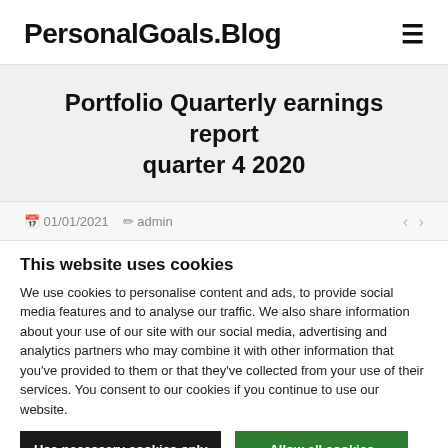PersonalGoals.Blog
Portfolio Quarterly earnings report quarter 4 2020
01/01/2021  admin
This website uses cookies
We use cookies to personalise content and ads, to provide social media features and to analyse our traffic. We also share information about your use of our site with our social media, advertising and analytics partners who may combine it with other information that you've provided to them or that they've collected from your use of their services. You consent to our cookies if you continue to use our website.
Use necessary cookies only | Allow all cookies
Show details